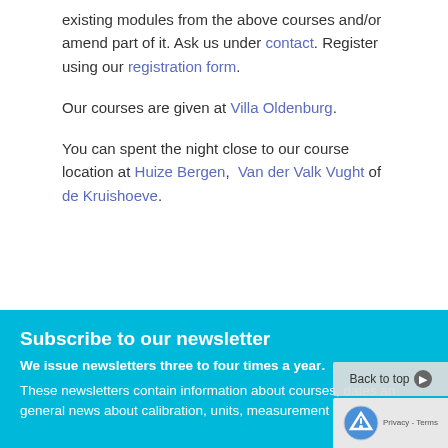existing modules from the above courses and/or amend part of it. Ask us under contact. Register using our registration form.
Our courses are given at Villa Oldenburg.
You can spent the night close to our course location at Huize Bergen, Van der Valk Vught of de Kruishoeve.
Subscribe to our newsletter
We issue newsletters three to four times a year.
These newsletters contain information about courses, dates and general news about calibration, units, measurement standards and